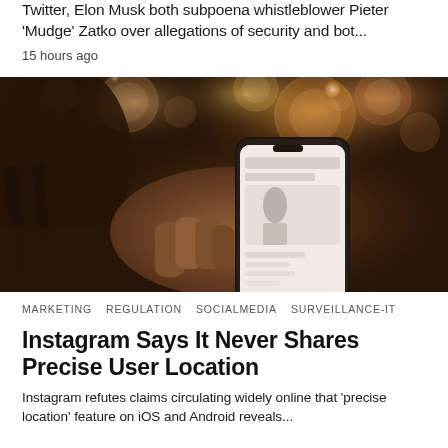Twitter, Elon Musk both subpoena whistleblower Pieter 'Mudge' Zatko over allegations of security and bot...
15 hours ago
[Figure (photo): Woman holding a smartphone outdoors at night with bokeh background lighting]
MARKETING   REGULATION   SOCIALMEDIA   SURVEILLANCE-IT
Instagram Says It Never Shares Precise User Location
Instagram refutes claims circulating widely online that 'precise location' feature on iOS and Android reveals...